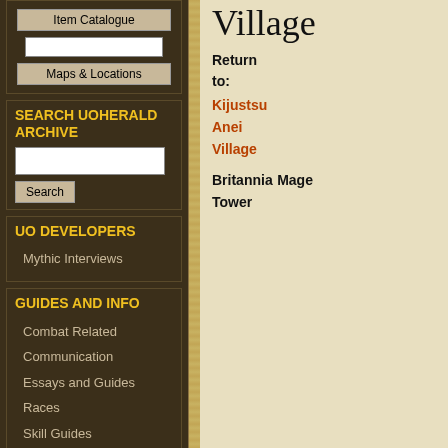Item Catalogue
Maps & Locations
SEARCH UOHERALD ARCHIVE
Search
UO DEVELOPERS
Mythic Interviews
GUIDES AND INFO
Combat Related
Communication
Essays and Guides
Races
Skill Guides
Items
Village
Return to:
Kijustsu Anei Village
Britannia Mage Tower